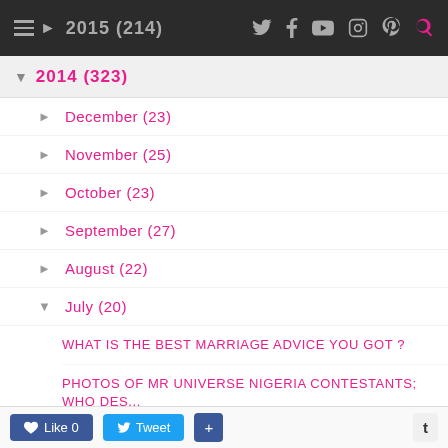2015 (214)
2014 (323)
► December (23)
► November (25)
► October (23)
► September (27)
► August (22)
▼ July (20)
WHAT IS THE BEST MARRIAGE ADVICE YOU GOT ?
PHOTOS OF MR UNIVERSE NIGERIA CONTESTANTS; WHO DES...
PALMCHAT LOVE AT FIRST POST
WHAT HAPPENS WHEN SOMEONE I...
Like 0   Tweet   +   t